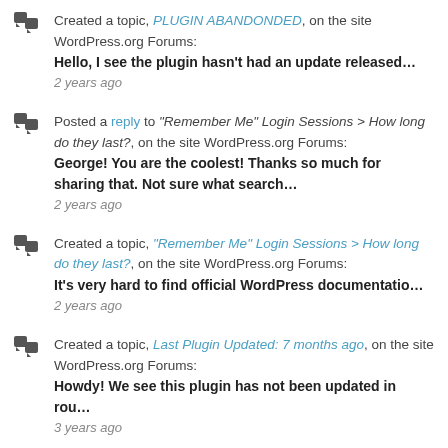Created a topic, PLUGIN ABANDONDED, on the site WordPress.org Forums: Hello, I see the plugin hasn't had an update released… 2 years ago
Posted a reply to "Remember Me" Login Sessions > How long do they last?, on the site WordPress.org Forums: George! You are the coolest! Thanks so much for sharing that. Not sure what search… 2 years ago
Created a topic, "Remember Me" Login Sessions > How long do they last?, on the site WordPress.org Forums: It's very hard to find official WordPress documentatio… 2 years ago
Created a topic, Last Plugin Updated: 7 months ago, on the site WordPress.org Forums: Howdy! We see this plugin has not been updated in rou… 3 years ago
Posted a reply to Theme Editor – MultiSite always errors when saving code edits., on the site WordPress.org Forums: